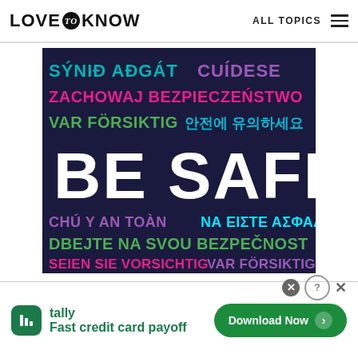LOVE to KNOW   ALL TOPICS
[Figure (infographic): Dark navy blue square image with multilingual 'BE SAFE' messages in various colors. Top row: 'SÝNIĐ AÐGÁT' in teal, 'CUÍDESE' in purple. Second row: 'ZACHOWAJ BEZPIECZEŃSTWO' in pink/magenta. Third row: 'VAR FÖRSIKTIG' in green, '안전에 유의하세요' in teal. Center large text: 'BE SAFE' in white bold. Below: 'CHÚ Ý AN TOÀN' in purple, 'ΝΑ ΕΙΣΤΕ ΑΣΦΑΛΕΙΣ' in cyan. 'DBEJTE NA SVOU BEZPEČNOST' in green. 'SEIEN SIE VORSICHTIG' in pink, 'VAR FÖRSIKTIG' in purple.]
[Figure (infographic): Tally app advertisement banner. Green Tally icon on left with text 'tally' and 'Fast credit card payoff'. Download Now button with arrow on right. Close/help icons top right.]